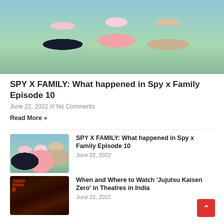[Figure (illustration): Anime illustration from Spy x Family showing three characters: a dark-haired woman, a pink-haired child, and a blond man in a suit with a red tie, outdoors with green trees in background.]
SPY X FAMILY: What happened in Spy x Family Episode 10
June 22, 2022 /// No Comments
Read More »
[Figure (illustration): Thumbnail of Spy x Family showing three main characters outdoors against a blue sky background.]
SPY X FAMILY: What happened in Spy x Family Episode 10
June 22, 2022
[Figure (illustration): Thumbnail of Jujutsu Kaisen Zero movie poster with dark background, red logo text, and monster figures.]
When and Where to Watch 'Jujutsu Kaisen Zero' in Theatres in India
June 22, 2022